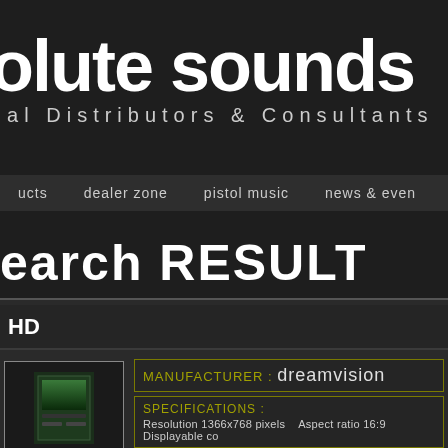olute sounds — International Distributors & Consultants
ucts   dealer zone   PISTOL MUSIC   news & even
earch RESULT
HD
MANUFACTURER : dreamvision
SPECIFICATIONS : Resolution 1366x768 pixels   Aspect ratio 16:9   Displayable co